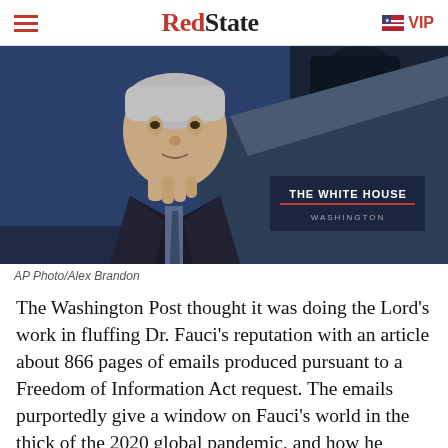RedState | VIP
[Figure (photo): Dr. Fauci at a White House podium, resting his chin on his hand, with camera equipment visible in the background. The White House Washington seal visible on the podium.]
AP Photo/Alex Brandon
The Washington Post thought it was doing the Lord's work in fluffing Dr. Fauci's reputation with an article about 866 pages of emails produced pursuant to a Freedom of Information Act request. The emails purportedly give a window on Fauci's world in the thick of the 2020 global pandemic, and how he handled